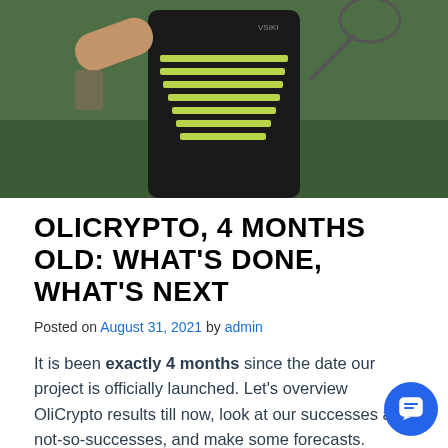[Figure (photo): Photo of a person wearing a dark shirt with yellow/green stripe design, holding a tennis racket, with a green background suggesting a tennis court.]
OLICRYPTO, 4 MONTHS OLD: WHAT'S DONE, WHAT'S NEXT
Posted on August 31, 2021 by admin
It is been exactly 4 months since the date our project is officially launched. Let's overview OliCrypto results till now, look at our successes and not-so-successes, and make some forecasts.
Despite the team's strong belief that OliCrypto is still in the very early stages of its development – and it might be so much bigger than even the very successful career of a single tennis player – we are happy to share some very definite & "touchable" results made